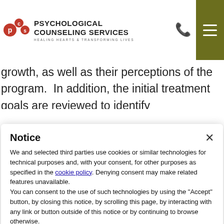[Figure (logo): PCS Psychological Counseling Services logo with phone icon and hamburger menu on olive green background]
growth, as well as their perceptions of the program.  In addition, the initial treatment goals are reviewed to identify
Notice
We and selected third parties use cookies or similar technologies for technical purposes and, with your consent, for other purposes as specified in the cookie policy. Denying consent may make related features unavailable.
You can consent to the use of such technologies by using the “Accept” button, by closing this notice, by scrolling this page, by interacting with any link or button outside of this notice or by continuing to browse otherwise.
Accept
Learn more and customize